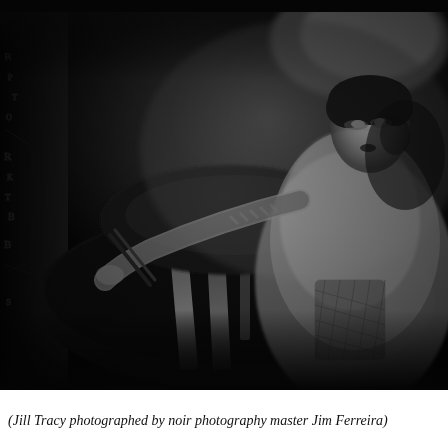[Figure (photo): Black and white noir photography of a woman (Jill Tracy) wearing a fur coat and fishnet stockings, posed dramatically in a dark setting with strong chiaroscuro lighting. She has short dark hair and dark lips, with one arm extended. The left side of the image shows graffiti-covered wall in darkness.]
(Jill Tracy photographed by noir photography master Jim Ferreira)